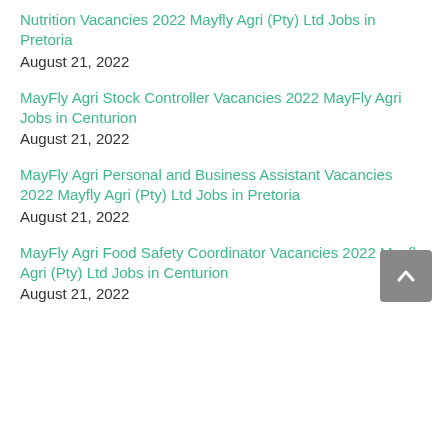Nutrition Vacancies 2022 Mayfly Agri (Pty) Ltd Jobs in Pretoria
August 21, 2022
MayFly Agri Stock Controller Vacancies 2022 MayFly Agri Jobs in Centurion
August 21, 2022
MayFly Agri Personal and Business Assistant Vacancies 2022 Mayfly Agri (Pty) Ltd Jobs in Pretoria
August 21, 2022
MayFly Agri Food Safety Coordinator Vacancies 2022 Mayfly Agri (Pty) Ltd Jobs in Centurion
August 21, 2022